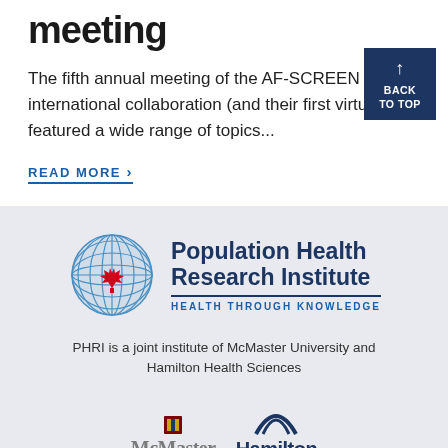meeting
The fifth annual meeting of the AF-SCREEN international collaboration (and their first virtual one) featured a wide range of topics...
READ MORE ›
[Figure (logo): Back to top button, dark navy blue square with upward arrow and text BACK TO TOP]
[Figure (logo): Population Health Research Institute logo with globe featuring Canadian maple leaf, and text Population Health Research Institute, Health Through Knowledge]
PHRI is a joint institute of McMaster University and Hamilton Health Sciences
[Figure (logo): McMaster University logo - partial view showing name text and shield emblem]
[Figure (logo): Hamilton Health logo - partial view showing arc symbol and text Hamilton Health]